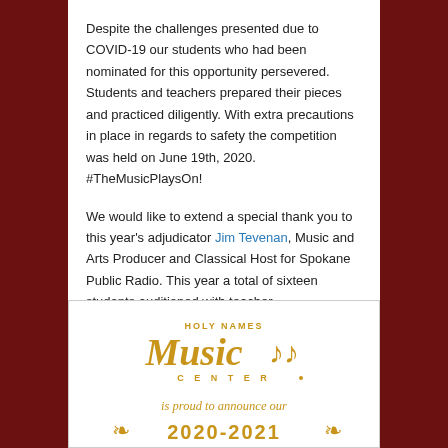Despite the challenges presented due to COVID-19 our students who had been nominated for this opportunity persevered. Students and teachers prepared their pieces and practiced diligently. With extra precautions in place in regards to safety the competition was held on June 19th, 2020. #TheMusicPlaysOn!
We would like to extend a special thank you to this year's adjudicator Jim Tevenan, Music and Arts Producer and Classical Host for Spokane Public Radio. This year a total of sixteen students auditioned with teacher recommendations in the areas of strings, voice, and piano. We are so impressed by our hard working and talented music students and are pleased to announce this year's winners!
[Figure (logo): Holy Names Music Center logo in gold/amber color with musical notes, tagline 'is proud to announce our' and partial year text below]